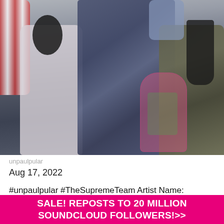[Figure (photo): Group of people at an event, several individuals standing close together, one wearing a blue tie-dye shirt, another in a white sweater, a pink illustrated silhouette overlay visible on the right side]
unpaulpular
Aug 17, 2022
#unpaulpular #TheSupremeTeam Artist Name:
SALE! REPOSTS TO 20 MILLION SOUNDCLOUD FOLLOWERS!>>